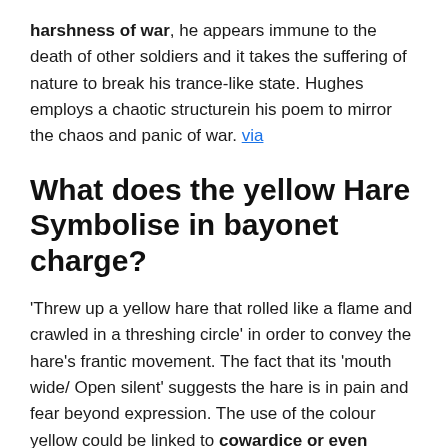harshness of war, he appears immune to the death of other soldiers and it takes the suffering of nature to break his trance-like state. Hughes employs a chaotic structurein his poem to mirror the chaos and panic of war. via
What does the yellow Hare Symbolise in bayonet charge?
'Threw up a yellow hare that rolled like a flame and crawled in a threshing circle' in order to convey the hare's frantic movement. The fact that its 'mouth wide/ Open silent' suggests the hare is in pain and fear beyond expression. The use of the colour yellow could be linked to cowardice or even illness,